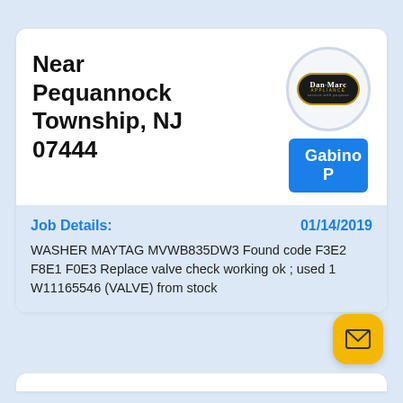Near Pequannock Township, NJ 07444
[Figure (logo): Dan-Marc Appliance logo — dark oval with gold border, 'Dan-Marc' in white serif text and 'APPLIANCE' in gold letters below]
Gabino P
Job Details:
01/14/2019
WASHER MAYTAG MVWB835DW3 Found code F3E2 F8E1 F0E3 Replace valve check working ok ; used 1 W11165546 (VALVE) from stock